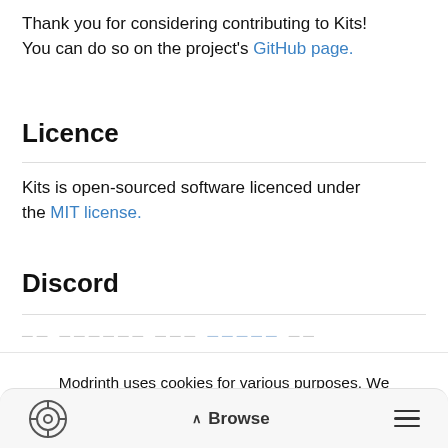Thank you for considering contributing to Kits! You can do so on the project's GitHub page.
Licence
Kits is open-sourced software licenced under the MIT license.
Discord
Modrinth uses cookies for various purposes. We encourage you to review your privacy settings by clicking on the button below:
Review | Accept all
Browse